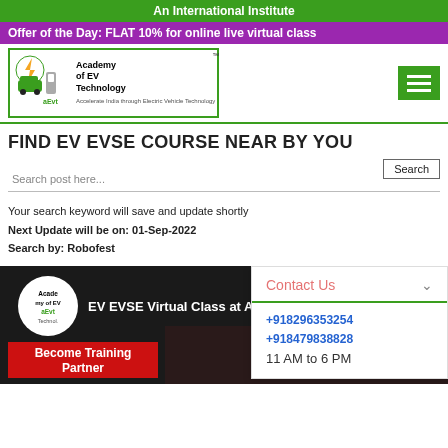An International Institute
Offer of the Day: FLAT 10% for online live virtual class
[Figure (logo): Academy of EV Technology logo with green border]
FIND EV EVSE COURSE NEAR BY YOU
Search post here...
Your search keyword will save and update shortly
Next Update will be on: 01-Sep-2022
Search by: Robofest
[Figure (screenshot): EV EVSE Virtual Class at AEV video thumbnail with Academy of EV Technology logo and Become Training Partner button]
Contact Us
+918296353254
+918479838828
11 AM to 6 PM